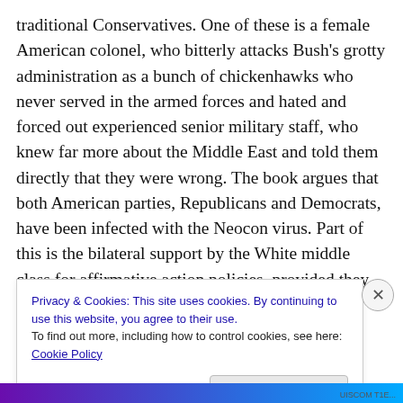traditional Conservatives. One of these is a female American colonel, who bitterly attacks Bush's grotty administration as a bunch of chickenhawks who never served in the armed forces and hated and forced out experienced senior military staff, who knew far more about the Middle East and told them directly that they were wrong. The book argues that both American parties, Republicans and Democrats, have been infected with the Neocon virus. Part of this is the bilateral support by the White middle class for affirmative action policies, provided they don't affect their children.
Privacy & Cookies: This site uses cookies. By continuing to use this website, you agree to their use.
To find out more, including how to control cookies, see here: Cookie Policy